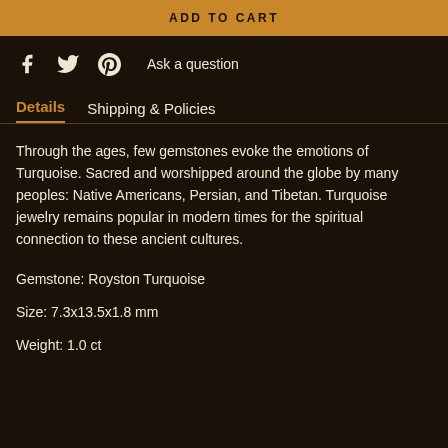ADD TO CART
[Figure (illustration): Social media icons: Facebook, Twitter, Pinterest, and Ask a question link]
Details
Shipping & Policies
Through the ages, few gemstones evoke the emotions of Turquoise. Sacred and worshipped around the globe by many peoples: Native Americans, Persian, and Tibetan. Turquoise jewelry remains popular in modern times for the spiritual connection to these ancient cultures.
Gemstone: Royston Turquoise
Size: 7.3x13.5x1.8 mm
Weight: 1.0 ct